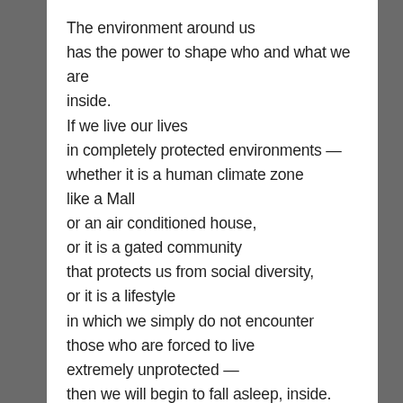The environment around us has the power to shape who and what we are inside. If we live our lives in completely protected environments — whether it is a human climate zone like a Mall or an air conditioned house, or it is a gated community that protects us from social diversity, or it is a lifestyle in which we simply do not encounter those who are forced to live extremely unprotected — then we will begin to fall asleep, inside.

I am not saying it is impossible to stay morally awake